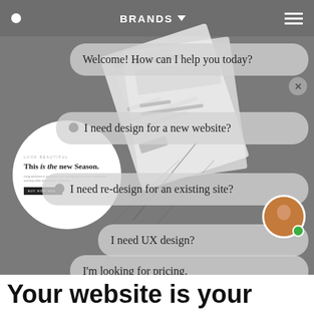BRANDS ▾
[Figure (screenshot): Chat widget interface showing a website design service bot with options: Welcome! How can I help you today?, I need design for a new website?, I need re-design for an existing site?, I need UX design?, I'm looking for pricing. Background shows a website mockup preview with circle thumbnail of a fashion site.]
Welcome! How can I help you today?
I need design for a new website?
I need re-design for an existing site?
I need UX design?
I'm looking for pricing.
Your website is your